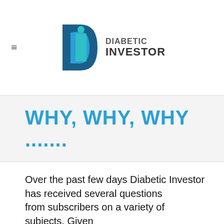Diabetic Investor
WHY, WHY, WHY .......
Over the past few days Diabetic Investor has received several questions from subscribers on a variety of subjects. Given the nature of these questions we thought it would better to answer the all questions collectively rather than individually.